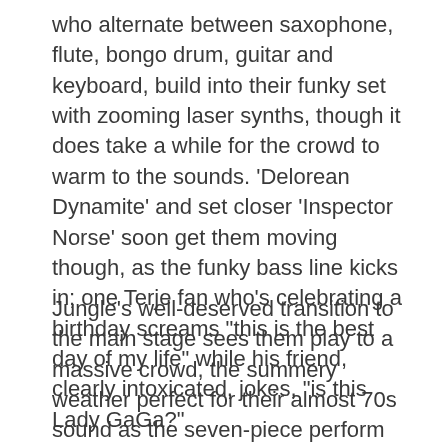who alternate between saxophone, flute, bongo drum, guitar and keyboard, build into their funky set with zooming laser synths, though it does take a while for the crowd to warm to the sounds. ‘Delorean Dynamite’ and set closer ‘Inspector Norse’ soon get them moving though, as the funky bass line kicks in; one Terje fan who’s celebrating a birthday screams “this is the best day of my life” while his friend, clearly intoxicated, jokes, “is this Lady GaGa?”
Jungle's well-deserved transition to the main stage sees them play to a massive crowd, the summery weather perfect for their almost 70s sound as the seven-piece perform their biggest hits, ‘Julia’ and ‘The Heat’ just as the sun beams down.